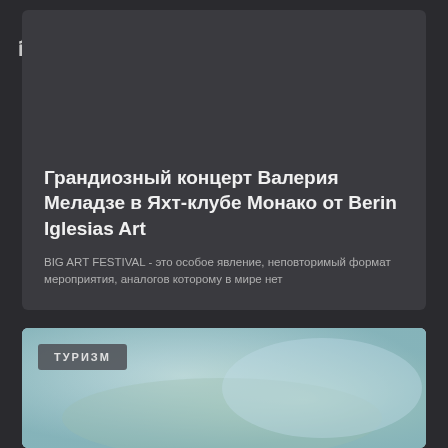MAGAZINE iPREMIUM
Грандиозный концерт Валерия Меладзе в Яхт-клубе Монако от Berin Iglesias Art
BIG ART FESTIVAL - это особое явление, неповторимый формат мероприятия, аналогов которому в мире нет
[Figure (photo): Blurred abstract background with blue and green gradient tones, tourism card]
ТУРИЗМ